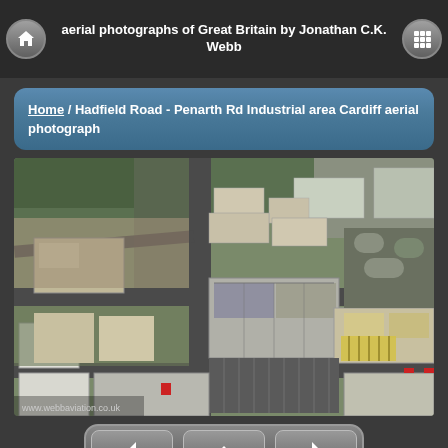aerial photographs of Great Britain by Jonathan C.K. Webb
Home / Hadfield Road - Penarth Rd Industrial area Cardiff aerial photograph
[Figure (photo): Aerial photograph of Hadfield Road - Penarth Road Industrial area in Cardiff, Wales. Shows industrial buildings, warehouses, car parks, and roads from above.]
Navigation buttons: previous, up, next